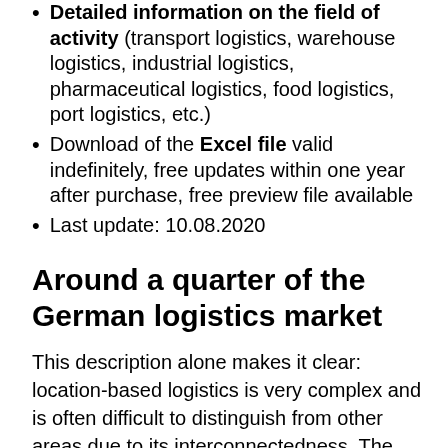Detailed information on the field of activity (transport logistics, warehouse logistics, industrial logistics, pharmaceutical logistics, food logistics, port logistics, etc.)
Download of the Excel file valid indefinitely, free updates within one year after purchase, free preview file available
Last update: 10.08.2020
Around a quarter of the German logistics market
This description alone makes it clear: location-based logistics is very complex and is often difficult to distinguish from other areas due to its interconnectedness. The segment represents about a quarter of the German logistics market. Typical logistics locations are sea and inland ports, air freight terminals, freight loading terminals at